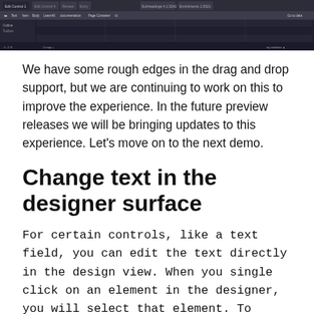[Figure (screenshot): IDE/designer interface screenshot showing a dark-themed development environment with tabs, toolbar, grid/table view, and status bar]
We have some rough edges in the drag and drop support, but we are continuing to work on this to improve the experience. In the future preview releases we will be bringing updates to this experience. Let’s move on to the next demo.
Change text in the designer surface
For certain controls, like a text field, you can edit the text directly in the design view. When you single click on an element in the designer, you will select that element. To modify text for controls that support it, you can double click to edit the text. You can see this in the animated gif